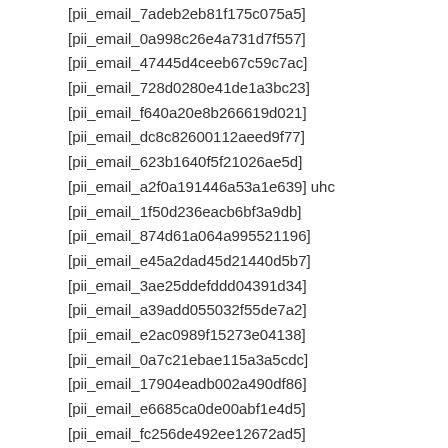[pii_email_7adeb2eb81f175c075a5]
[pii_email_0a998c26e4a731d7f557]
[pii_email_47445d4ceeb67c59c7ac]
[pii_email_728d0280e41de1a3bc23]
[pii_email_f640a20e8b266619d021]
[pii_email_dc8c82600112aeed9f77]
[pii_email_623b1640f5f21026ae5d]
[pii_email_a2f0a191446a53a1e639] uhc
[pii_email_1f50d236eacb6bf3a9db]
[pii_email_874d61a064a995521196]
[pii_email_e45a2dad45d21440d5b7]
[pii_email_3ae25ddefddd04391d34]
[pii_email_a39add055032f55de7a2]
[pii_email_e2ac0989f15273e04138]
[pii_email_0a7c21ebae115a3a5cdc]
[pii_email_17904eadb002a490df86]
[pii_email_e6685ca0de00abf1e4d5]
[pii_email_fc256de492ee12672ad5]
[pii_email_030209161d411575be49]